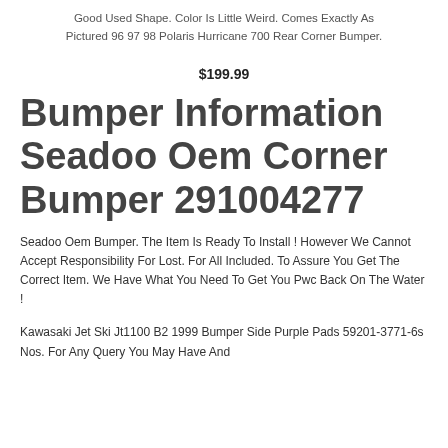Good Used Shape. Color Is Little Weird. Comes Exactly As Pictured 96 97 98 Polaris Hurricane 700 Rear Corner Bumper.
$199.99
Bumper Information Seadoo Oem Corner Bumper 291004277
Seadoo Oem Bumper. The Item Is Ready To Install ! However We Cannot Accept Responsibility For Lost. For All Included. To Assure You Get The Correct Item. We Have What You Need To Get You Pwc Back On The Water !
Kawasaki Jet Ski Jt1100 B2 1999 Bumper Side Purple Pads 59201-3771-6s Nos. For Any Query You May Have And